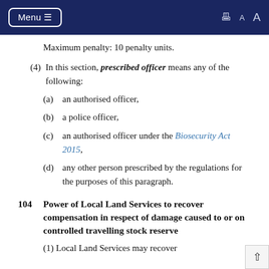Menu (navigation bar with print and font size controls)
Maximum penalty: 10 penalty units.
(4)  In this section, prescribed officer means any of the following:
(a)  an authorised officer,
(b)  a police officer,
(c)  an authorised officer under the Biosecurity Act 2015,
(d)  any other person prescribed by the regulations for the purposes of this paragraph.
104  Power of Local Land Services to recover compensation in respect of damage caused to or on controlled travelling stock reserve
(1)  Local Land Services may recover...